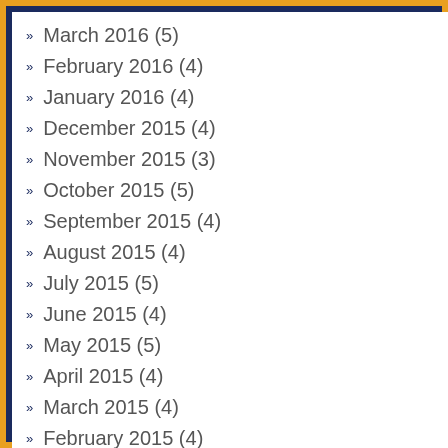March 2016 (5)
February 2016 (4)
January 2016 (4)
December 2015 (4)
November 2015 (3)
October 2015 (5)
September 2015 (4)
August 2015 (4)
July 2015 (5)
June 2015 (4)
May 2015 (5)
April 2015 (4)
March 2015 (4)
February 2015 (4)
January 2015 (5)
December 2014 (2)
June 2014 (7)
May 2014 (14)